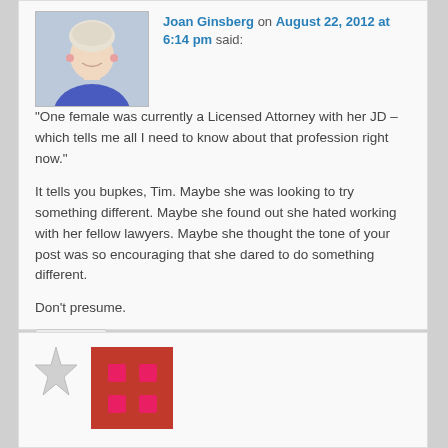[Figure (photo): Profile photo of Joan Ginsberg - woman with short light hair wearing blue top]
Joan Ginsberg on August 22, 2012 at 6:14 pm said:
“One female was currently a Licensed Attorney with her JD – which tells me all I need to know about that profession right now.”
It tells you bupkes, Tim. Maybe she was looking to try something different. Maybe she found out she hated working with her fellow lawyers. Maybe she thought the tone of your post was so encouraging that she dared to do something different.
Don’t presume.
Reply ↓
[Figure (logo): Red square logo with pink/magenta dot grid pattern]